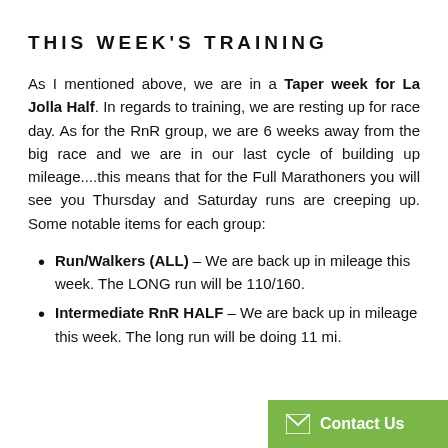THIS WEEK'S TRAINING
As I mentioned above, we are in a Taper week for La Jolla Half. In regards to training, we are resting up for race day. As for the RnR group, we are 6 weeks away from the big race and we are in our last cycle of building up mileage....this means that for the Full Marathoners you will see you Thursday and Saturday runs are creeping up. Some notable items for each group:
Run/Walkers (ALL) – We are back up in mileage this week. The LONG run will be 110/160.
Intermediate RnR HALF – We are back up in mileage this week. The long run will be doing 11 mi.